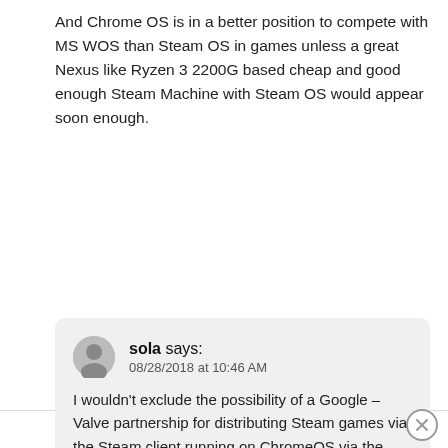And Chrome OS is in a better position to compete with MS WOS than Steam OS in games unless a great Nexus like Ryzen 3 2200G based cheap and good enough Steam Machine with Steam OS would appear soon enough.
sola says:
08/28/2018 at 10:46 AM

I wouldn't exclude the possibility of a Google – Valve partnership for distributing Steam games via the Steam client running on ChromeOS via the new Crostini / Linux-App feature.